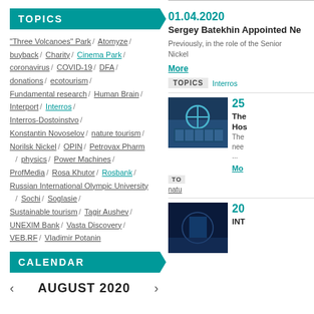TOPICS
"Three Volcanoes" Park / Atomyze / buyback / Charity / Cinema Park / coronavirus / COVID-19 / DFA / donations / ecotourism / Fundamental research / Human Brain / Interport / Interros / Interros-Dostoinstvo / Konstantin Novoselov / nature tourism / Norilsk Nickel / OPIN / Petrovax Pharm / physics / Power Machines / ProfMedia / Rosa Khutor / Rosbank / Russian International Olympic University / Sochi / Soglasie / Sustainable tourism / Tagir Aushev / UNEXIM Bank / Vasta Discovery / VEB.RF / Vladimir Potanin
CALENDAR
AUGUST 2020
01.04.2020
Sergey Batekhin Appointed Ne
Previously, in the role of the Senior Nickel
More
TOPICS  Interros
25
The Hos
The nee
Mo
natu
20
INT